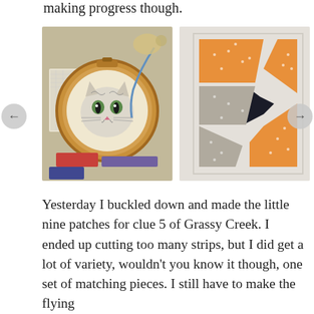making progress though.
[Figure (photo): An embroidery hoop with a black-and-white cat face cross-stitch design, surrounded by craft supplies and pattern sheets on a cluttered table.]
[Figure (photo): A quilt block in progress showing a bow-tie or butterfly pattern made with orange floral fabric, grey floral fabric, and dark navy/black fabric on a white houndstooth background.]
Yesterday I buckled down and made the little nine patches for clue 5 of Grassy Creek. I ended up cutting too many strips, but I did get a lot of variety, wouldn't you know it though, one set of matching pieces. I still have to make the flying